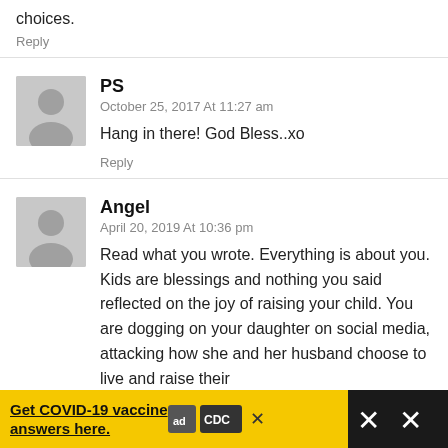choices.
Reply
PS
October 25, 2017 At 11:27 am
Hang in there! God Bless..xo
Reply
Angel
April 20, 2019 At 10:36 pm
Read what you wrote. Everything is about you. Kids are blessings and nothing you said reflected on the joy of raising your child. You are dogging on your daughter on social media, attacking how she and her husband choose to live and raise their
[Figure (infographic): Ad bar: yellow background with text 'Get COVID-19 vaccine answers here.' underlined, ad council logo, CDC logo, and close button X]
[Figure (infographic): Dark overlay on right side with X icons]